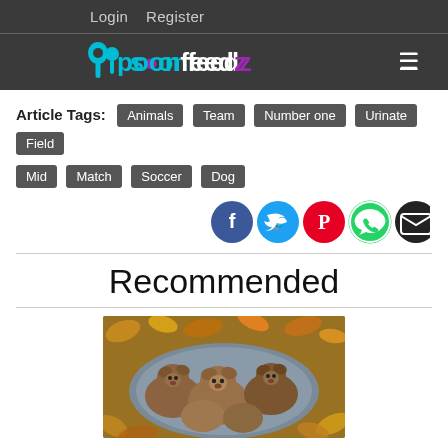Login   Register
[Figure (logo): Spoonfeedz logo with spoon icon, teal and purple text on dark background, with hamburger menu icon]
Article Tags: Animals Team Number one Urinate Field Mid Match Soccer Dog
[Figure (infographic): Social share icons: Facebook (blue), Twitter (light blue), Pinterest (red), WhatsApp (green), Email (black)]
Recommended
[Figure (photo): Photo of a group of brown puppies huddled together on a grey blanket surrounded by autumn leaves]